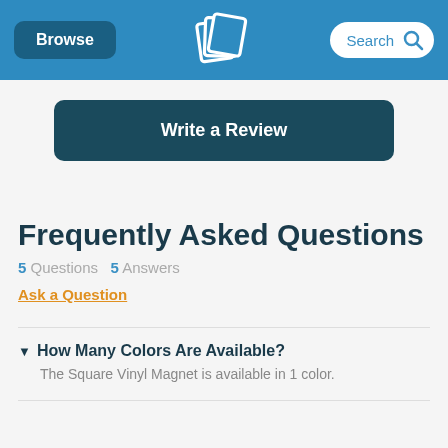Browse | [logo] | Search
Write a Review
Frequently Asked Questions
5 Questions   5 Answers
Ask a Question
How Many Colors Are Available?
The Square Vinyl Magnet is available in 1 color.